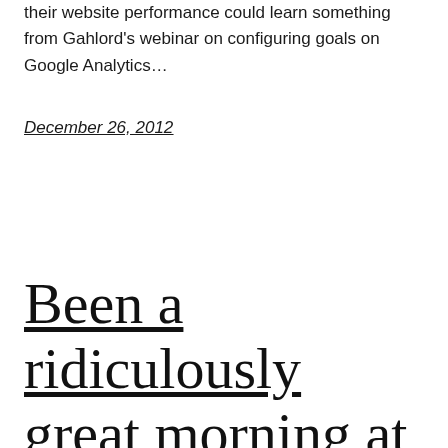their website performance could learn something from Gahlord's webinar on configuring goals on Google Analytics…
December 26, 2012
Been a ridiculously great morning at the…